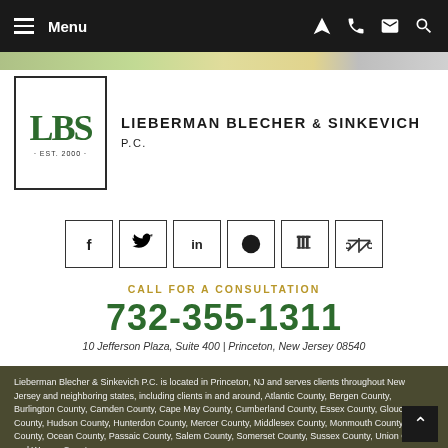Menu
[Figure (logo): Lieberman Blecher & Sinkevich P.C. law firm logo with LBS initials in green serif font inside a bordered box, EST. 2000]
LIEBERMAN BLECHER & SINKEVICH P.C.
[Figure (infographic): Row of social media icon buttons: Facebook (f), Twitter (bird), LinkedIn (in), Avvo (black circle), Martindale (trash/column icon), scales of justice icon]
CALL FOR A CONSULTATION
732-355-1311
10 Jefferson Plaza, Suite 400 | Princeton, New Jersey 08540
Lieberman Blecher & Sinkevich P.C. is located in Princeton, NJ and serves clients throughout New Jersey and neighboring states, including clients in and around, Atlantic County, Bergen County, Burlington County, Camden County, Cape May County, Cumberland County, Essex County, Gloucester County, Hudson County, Hunterdon County, Mercer County, Middlesex County, Monmouth County, Morris County, Ocean County, Passaic County, Salem County, Somerset County, Sussex County, Union County and Warren County.